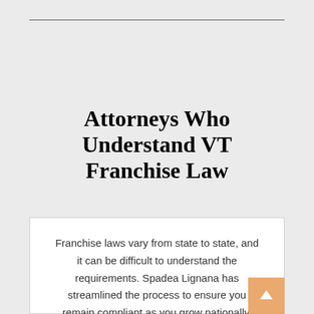Attorneys Who Understand VT Franchise Law
Franchise laws vary from state to state, and it can be difficult to understand the requirements. Spadea Lignana has streamlined the process to ensure you remain compliant as you grow nationally.
We also work with franchise systems in New Hampshire, Connecticut, Massachusetts, Pennsylvania, New York and New Jersey